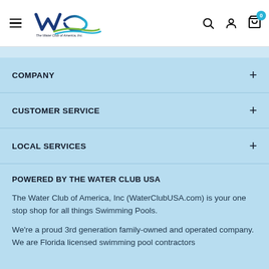The Water Club of America, Inc. — navigation header with logo, search, account, and cart icons
COMPANY +
CUSTOMER SERVICE +
LOCAL SERVICES +
POWERED BY THE WATER CLUB USA
The Water Club of America, Inc (WaterClubUSA.com) is your one stop shop for all things Swimming Pools.
We're a proud 3rd generation family-owned and operated company. We are Florida licensed swimming pool contractors...